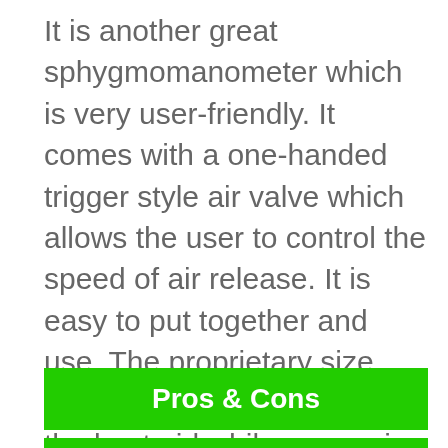It is another great sphygmomanometer which is very user-friendly. It comes with a one-handed trigger style air valve which allows the user to control the speed of air release. It is easy to put together and use. The proprietary size guide marking system allows the best aid while measuring blood pressure. The carrying case features a nylon zipper which is self-repairing. This sphygmomanometer has a Japanese engineered movement.
Pros & Cons